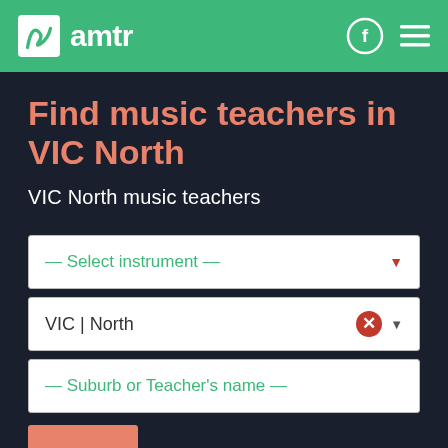amtr
Find music teachers in VIC North
VIC North music teachers
— Select instrument —
VIC | North
— Suburb or Teacher's name —